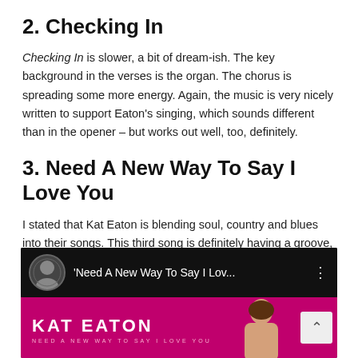2. Checking In
Checking In is slower, a bit of dream-ish. The key background in the verses is the organ. The chorus is spreading some more energy. Again, the music is very nicely written to support Eaton's singing, which sounds different than in the opener – but works out well, too, definitely.
3. Need A New Way To Say I Love You
I stated that Kat Eaton is blending soul, country and blues into their songs. This third song is definitely having a groove, which reminds of the blues genre. There is also more guitar presence than in the songs before. I like the accentuated rhythm and groove of this song.
[Figure (screenshot): YouTube video thumbnail for 'Need A New Way To Say I Love You' by Kat Eaton. Shows video title bar with avatar, title text, and a pink/magenta banner with 'KAT EATON' and 'NEED A NEW WAY TO SAY I LOVE YOU' text, with a woman's photo on the right.]